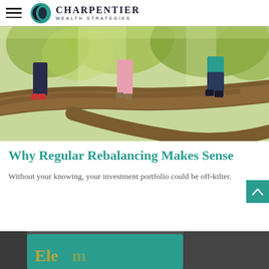Charpentier Wealth Strategies
[Figure (photo): Three children balancing on a large fallen tree branch in a sunlit forest, photographed from waist down showing their feet and legs.]
Why Regular Rebalancing Makes Sense
Without your knowing, your investment portfolio could be off-kilter.
[Figure (photo): Bottom portion of a teal-colored device or book with partial gold text reading 'Ele...' visible, cropped at the bottom of the page.]